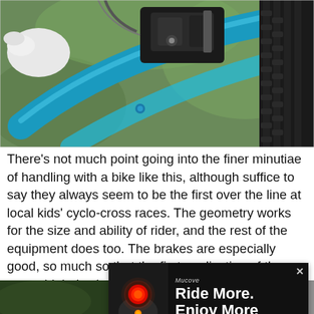[Figure (photo): Close-up of a blue bicycle frame with black brake mechanism and tire visible in the background on a green blurred background.]
There's not much point going into the finer minutiae of handling with a bike like this, although suffice to say they always seem to be the first over the line at local kids' cyclo-cross races. The geometry works for the size and ability of rider, and the rest of the equipment does too. The brakes are especially good, so much so that the first application of them was a bit hairy, but once Daisy was used to them they gave her plenty of confidence. The 165mm cranks (shorter than the grown-up standard 172.5mm) work well and the 32-tooth chainring with an 11-32 cassette gives a more or less
[Figure (photo): Advertisement banner: Mucove brand. Text reads 'Ride More. Enjoy More' with an image of a red glowing bike light on the left and handlebars on the right.]
[Figure (photo): Partial bottom photos of bicycle components, partially cut off at the page bottom.]